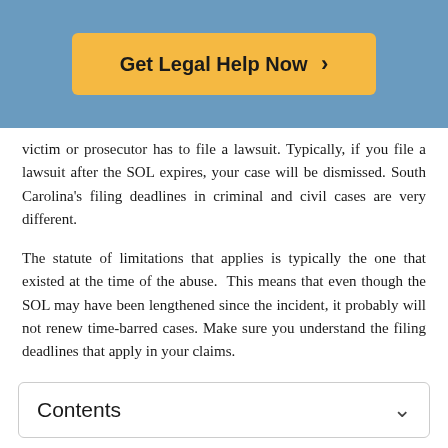[Figure (other): Get Legal Help Now button with orange/yellow background on blue header banner]
victim or prosecutor has to file a lawsuit. Typically, if you file a lawsuit after the SOL expires, your case will be dismissed. South Carolina's filing deadlines in criminal and civil cases are very different.
The statute of limitations that applies is typically the one that existed at the time of the abuse. This means that even though the SOL may have been lengthened since the incident, it probably will not renew time-barred cases. Make sure you understand the filing deadlines that apply in your claims.
Contents